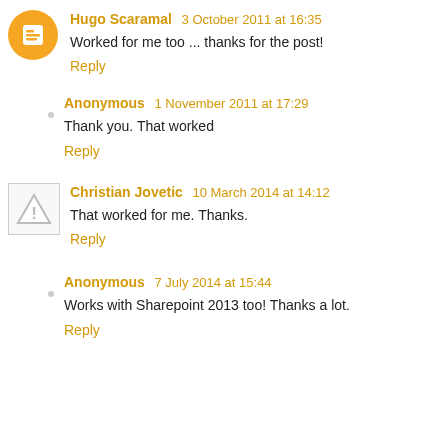Hugo Scaramal 3 October 2011 at 16:35
Worked for me too ... thanks for the post!
Reply
Anonymous 1 November 2011 at 17:29
Thank you. That worked
Reply
Christian Jovetic 10 March 2014 at 14:12
That worked for me. Thanks.
Reply
Anonymous 7 July 2014 at 15:44
Works with Sharepoint 2013 too! Thanks a lot.
Reply